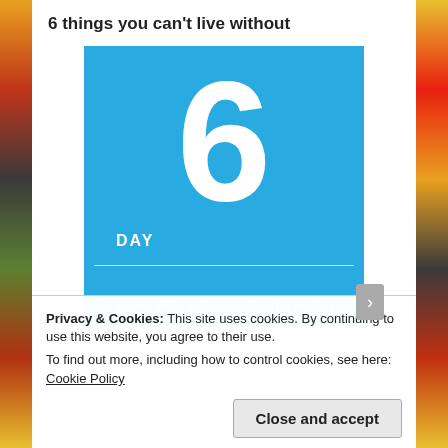6 things you can't live without
[Figure (illustration): Book cover with blue background, large white number 6, text 'DAY', horizontal divider line, and subtitle 'Sunny With a Chance of Armageddon']
Privacy & Cookies: This site uses cookies. By continuing to use this website, you agree to their use.
To find out more, including how to control cookies, see here: Cookie Policy
Close and accept